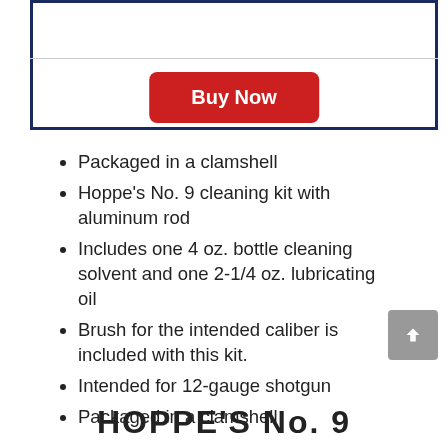[Figure (screenshot): Box with dark navy border and a red Buy Now button inside, with a horizontal divider line]
Packaged in a clamshell
Hoppe's No. 9 cleaning kit with aluminum rod
Includes one 4 oz. bottle cleaning solvent and one 2-1/4 oz. lubricating oil
Brush for the intended caliber is included with this kit.
Intended for 12-gauge shotgun
Packaged in a clamshell
HOPPE'S No. 9...